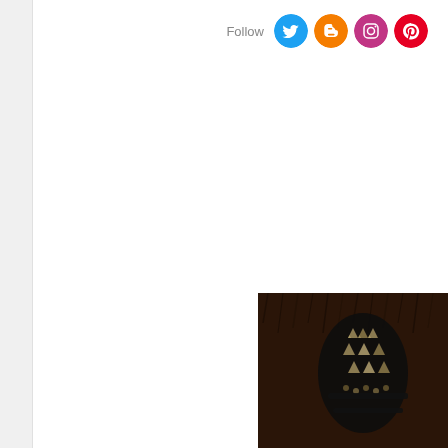Follow
[Figure (photo): Dark photo showing studded black leather accessories/hardware against a dark fur or textured background, positioned in the bottom-right corner of the page.]